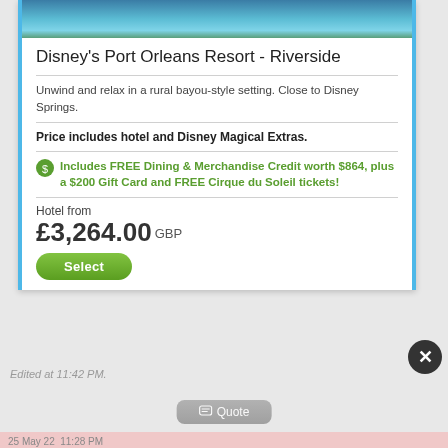[Figure (photo): Hotel/resort exterior or landscape photo with water and greenery]
Disney's Port Orleans Resort - Riverside
Unwind and relax in a rural bayou-style setting. Close to Disney Springs.
Price includes hotel and Disney Magical Extras.
Includes FREE Dining & Merchandise Credit worth $864, plus a $200 Gift Card and FREE Cirque du Soleil tickets!
Hotel from
£3,264.00 GBP
Select
Edited at 11:42 PM.
25 May 22  11:28 PM